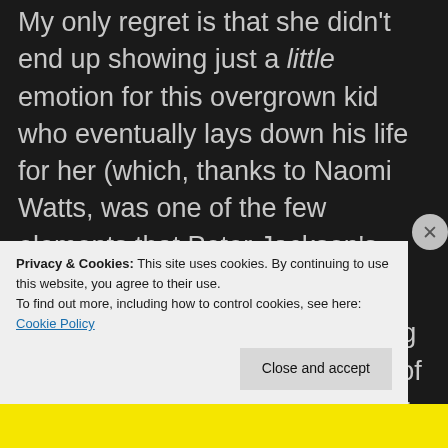My only regret is that she didn't end up showing just a little emotion for this overgrown kid who eventually lays down his life for her (which, thanks to Naomi Watts, was one of the few elements that Peter Jackson's 2005 version did get right, IMHO).
Even the deaths in the movie aren't terribly painful. When Kong shakes a huge log where some of his would-be captors are clinging for dear life, and many of them fall to the gorge
Privacy & Cookies: This site uses cookies. By continuing to use this website, you agree to their use.
To find out more, including how to control cookies, see here: Cookie Policy